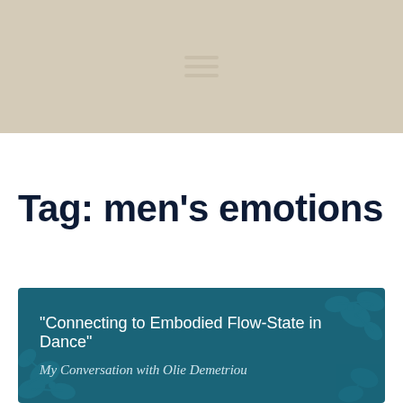[Figure (other): Beige/tan header banner with hamburger menu icon (three horizontal lines) centered in the lower portion of the banner]
Tag: men's emotions
[Figure (illustration): Teal/dark blue article card with decorative leaf pattern in background. Contains title 'Connecting to Embodied Flow-State in Dance' and subtitle 'My Conversation with Olie Demetriou']